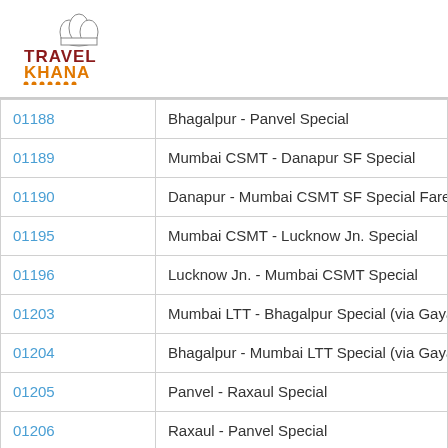[Figure (logo): TravelKhana logo with chef hat icon, TRAVEL in dark red/maroon bold text, KHANA in orange bold text, decorative dots underline]
| 01188 | Bhagalpur - Panvel Special |
| 01189 | Mumbai CSMT - Danapur SF Special |
| 01190 | Danapur - Mumbai CSMT SF Special Fare S |
| 01195 | Mumbai CSMT - Lucknow Jn. Special |
| 01196 | Lucknow Jn. - Mumbai CSMT Special |
| 01203 | Mumbai LTT - Bhagalpur Special (via Gaya) |
| 01204 | Bhagalpur - Mumbai LTT Special (via Gaya) |
| 01205 | Panvel - Raxaul Special |
| 01206 | Raxaul - Panvel Special |
| 01209X | Nagpur - Allahabad Kumbh Mela Special Fa |